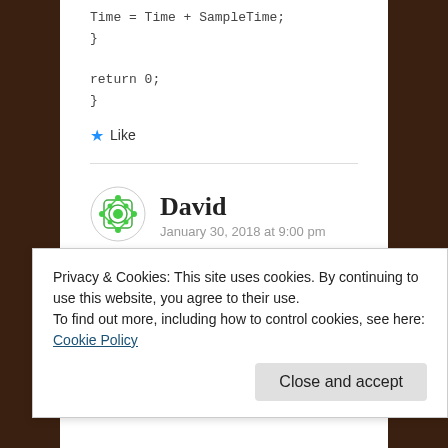Time = Time + SampleTime;
}

return 0;
}
★ Like
[Figure (illustration): Green geometric avatar icon for user David]
David
January 30, 2018 at 9:00 pm
Hi Jaeyoung,
Privacy & Cookies: This site uses cookies. By continuing to use this website, you agree to their use.
To find out more, including how to control cookies, see here: Cookie Policy
Close and accept